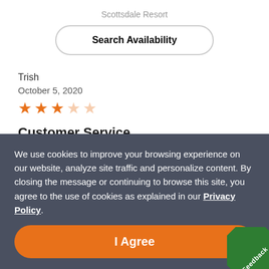Scottsdale Resort
Search Availability
Trish
October 5, 2020
★★★☆☆ (3 out of 5 stars)
Customer Service
I will not ever return to this resort. Although the resort is nice and it met all of my needs. I had a
We use cookies to improve your browsing experience on our website, analyze site traffic and personalize content. By closing the message or continuing to browse this site, you agree to the use of cookies as explained in our Privacy Policy.
I Agree
Feedback